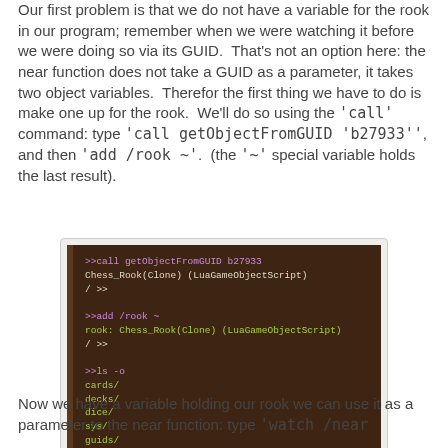Our first problem is that we do not have a variable for the rook in our program; remember when we were watching it before we were doing so via its GUID.  That's not an option here: the near function does not take a GUID as a parameter, it takes two object variables.  Therefor the first thing we have to do is make one up for the rook.  We'll do so using the 'call' command: type 'call getObjectFromGUID 'b27933'', and then 'add /rook ~'.  (the '~' special variable holds the last result).
[Figure (screenshot): Terminal/console screenshot showing commands: '>>call getObjectFromGUID b27933', 'Chess_Rook(Clone) (LuaGameObjectScript)', '/ >>', '>>add /rook ~', 'rook: Chess_Rook(Clone) (LuaGameObjectScript)', '/ >>', '>>ls -o', 'cards/', 'decks/', 'dice/', 'sys/', 'guids/', 'rook: Chess [b27933]', '/ >>']
Now we have a variable holding our rook we can use it as a parameter to the near function: type 'watch /near